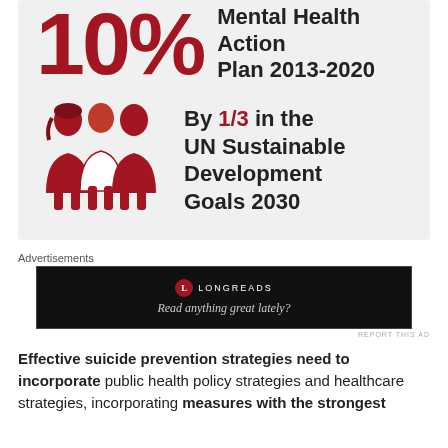[Figure (infographic): Infographic showing '10%' in large red text next to 'Mental Health Action Plan 2013-2020' in bold black text, and below an icon of three people next to 'By 1/3 in the UN Sustainable Development Goals 2030' in bold text with '1/3' in red]
Advertisements
[Figure (infographic): Longreads advertisement banner on black background: logo with red circle L, text 'LONGREADS', tagline 'Read anything great lately?']
REPORT THIS AD
Effective suicide prevention strategies need to incorporate public health policy strategies and healthcare strategies, incorporating measures with the strongest